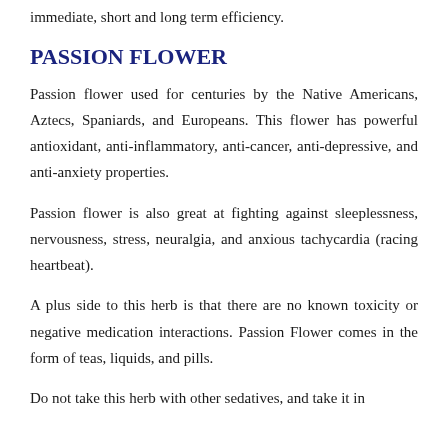immediate, short and long term efficiency.
PASSION FLOWER
Passion flower used for centuries by the Native Americans, Aztecs, Spaniards, and Europeans. This flower has powerful antioxidant, anti-inflammatory, anti-cancer, anti-depressive, and anti-anxiety properties.
Passion flower is also great at fighting against sleeplessness, nervousness, stress, neuralgia, and anxious tachycardia (racing heartbeat).
A plus side to this herb is that there are no known toxicity or negative medication interactions. Passion Flower comes in the form of teas, liquids, and pills.
Do not take this herb with other sedatives, and take it in